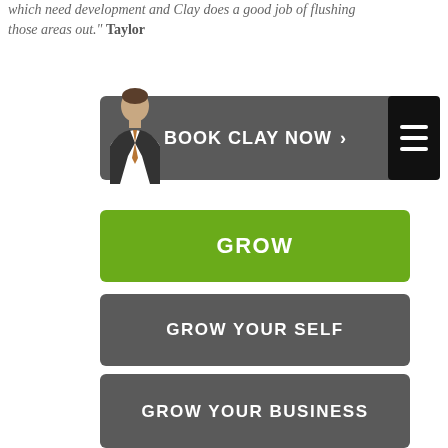which need development and Clay does a good job of flushing those areas out." Taylor
[Figure (infographic): Button with man in suit photo and text BOOK CLAY NOW with arrow]
[Figure (infographic): Hamburger menu icon - black square with three white horizontal lines]
[Figure (infographic): Green button labeled GROW]
[Figure (infographic): Gray button labeled GROW YOUR SELF]
[Figure (infographic): Gray button labeled GROW YOUR TEAM]
[Figure (infographic): Gray button labeled GROW YOUR BUSINESS]